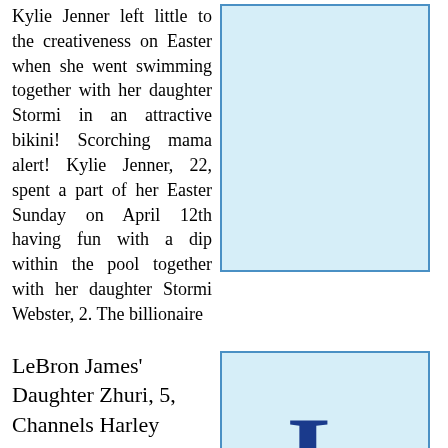Kylie Jenner left little to the creativeness on Easter when she went swimming together with her daughter Stormi in an attractive bikini! Scorching mama alert! Kylie Jenner, 22, spent a part of her Easter Sunday on April 12th having fun with a dip within the pool together with her daughter Stormi Webster, 2. The billionaire
[Figure (photo): Light blue placeholder image representing a photo]
LeBron James' Daughter Zhuri, 5, Channels Harley Quinn In A Fierce Red &
[Figure (photo): Light blue placeholder image with a large dark blue letter L visible at the bottom]